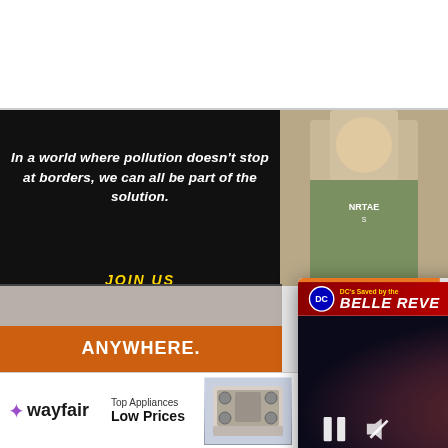In a world where pollution doesn't stop at borders, we can all be part of the solution.
JOIN US
PU
[Figure (screenshot): Top Articles popup overlay showing DC's Saved by the Belle Reve #1 comic with pause and mute controls, an orange arrow button, and title text 'DCSavedbytheBelleReve#1 re...']
[Figure (logo): Orange plant/leaf logo icon]
[Figure (screenshot): Wayfair advertisement banner: Top Appliances Low Prices, image of stove, Save on best selling brands that live up to the hype, Shop now button]